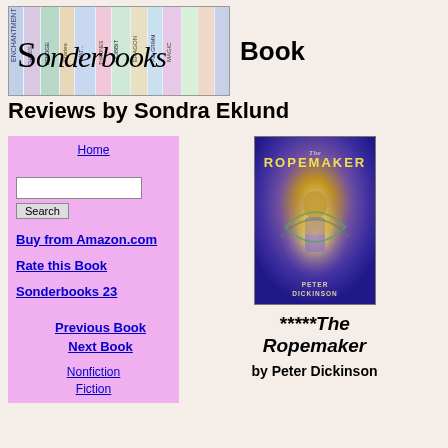[Figure (illustration): Sonderbooks banner showing book spines in a row with the Sonderbooks logo text overlaid in italic font]
Book Reviews by Sondra Eklund
Home
Search (input box and button)
Buy from Amazon.com
Rate this Book
Sonderbooks 23 Previous Book Next Book
Nonfiction
Fiction
[Figure (photo): Book cover of The Ropemaker by Peter Dickinson, showing a mystical figure surrounded by glowing light against a purple background]
*****The Ropemaker
by Peter Dickinson